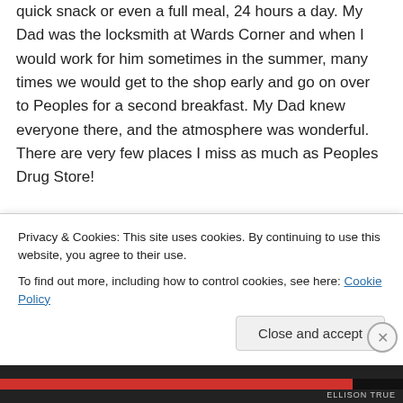quick snack or even a full meal, 24 hours a day. My Dad was the locksmith at Wards Corner and when I would work for him sometimes in the summer, many times we would get to the shop early and go on over to Peoples for a second breakfast. My Dad knew everyone there, and the atmosphere was wonderful. There are very few places I miss as much as Peoples Drug Store!
↳ Reply
Privacy & Cookies: This site uses cookies. By continuing to use this website, you agree to their use.
To find out more, including how to control cookies, see here: Cookie Policy
Close and accept